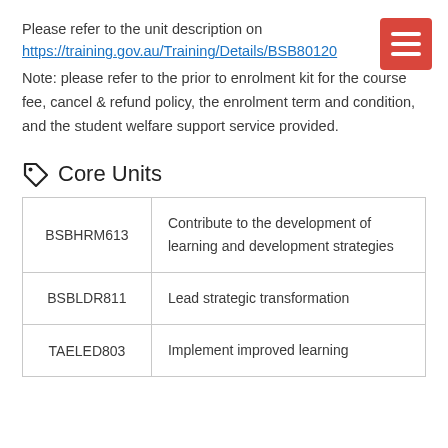Please refer to the unit description on https://training.gov.au/Training/Details/BSB80120
Note: please refer to the prior to enrolment kit for the course fee, cancel & refund policy, the enrolment term and condition, and the student welfare support service provided.
Core Units
|  |  |
| --- | --- |
| BSBHRM613 | Contribute to the development of learning and development strategies |
| BSBLDR811 | Lead strategic transformation |
| TAELED803 | Implement improved learning |